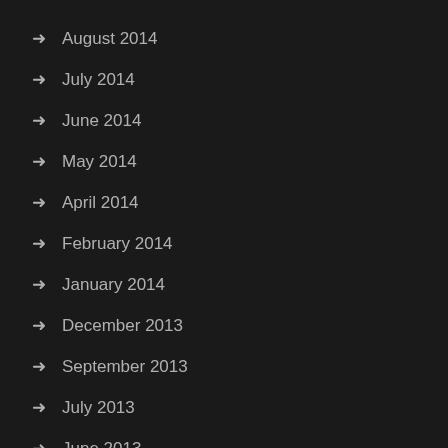August 2014
July 2014
June 2014
May 2014
April 2014
February 2014
January 2014
December 2013
September 2013
July 2013
June 2013
May 2013
April 2013
January 2013